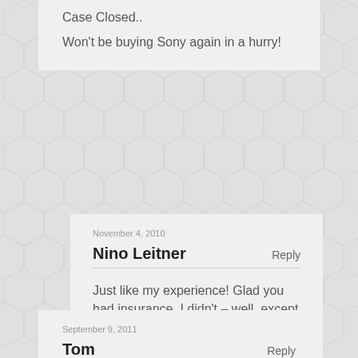Case Closed..
Won't be buying Sony again in a hurry!
November 4, 2010
Nino Leitner
Reply
Just like my experience! Glad you had insurance, I didn't – well, except for Sony “Prime Support” which SHOULD cover all of that …
September 9, 2011
Tom
Reply